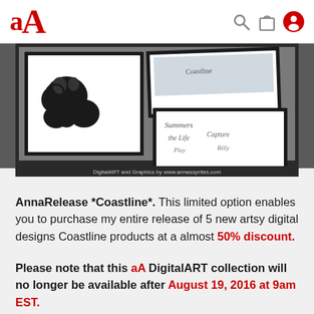aA [logo with search, cart, and user icons]
[Figure (photo): Product image showing digital art designs with ink blot brushes on the left and script/calligraphy style text overlays on card-like frames on the right, all on a dark gray background. Caption at bottom reads: DigitalART and Graphics by www.annassprites.com]
AnnaRelease *Coastline*. This limited option enables you to purchase my entire release of 5 new artsy digital designs Coastline products at a almost 50% discount.
Please note that this aA DigitalART collection will no longer be available after August 19, 2016 at 9am EST.